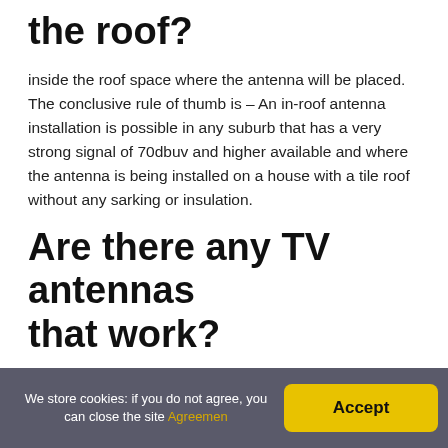the roof?
inside the roof space where the antenna will be placed. The conclusive rule of thumb is – An in-roof antenna installation is possible in any suburb that has a very strong signal of 70dbuv and higher available and where the antenna is being installed on a house with a tile roof without any sarking or insulation.
Are there any TV antennas that work?
The best TV antennas you can buy today
1. Mohu Leaf Supreme Pro. Best TV antenna overall.
We store cookies: if you do not agree, you can close the site Agreemen